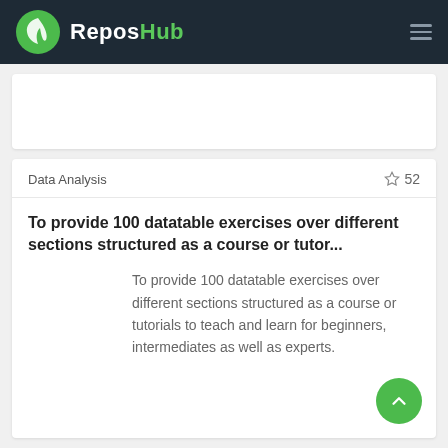ReposHub
Data Analysis  ☆ 52
To provide 100 datatable exercises over different sections structured as a course or tutor...
To provide 100 datatable exercises over different sections structured as a course or tutorials to teach and learn for beginners, intermediates as well as experts.